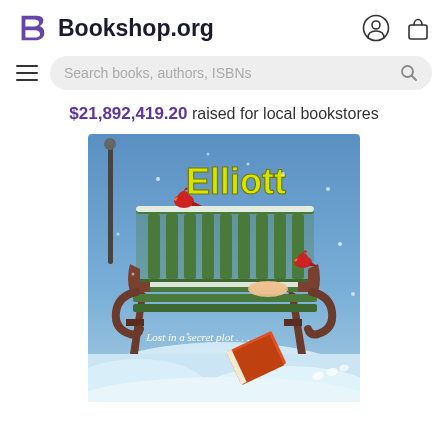Bookshop.org
Search books, authors, ISBNs
$21,892,419.20 raised for local bookstores
[Figure (illustration): Book cover for 'Elliott' showing a green park bench covered in snow with two red cardinals, a hand holding the bench arm, and a book dropped in the snow. Text on cover reads 'Elliott' in yellow and 'Lost in a secret plot...' in white italic.]